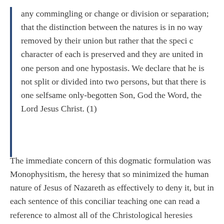any commingling or change or division or separation; that the distinction between the natures is in no way removed by their union but rather that the speci c character of each is preserved and they are united in one person and one hypostasis. We declare that he is not split or divided into two persons, but that there is one selfsame only-begotten Son, God the Word, the Lord Jesus Christ. (1)
The immediate concern of this dogmatic formulation was Monophysitism, the heresy that so minimized the human nature of Jesus of Nazareth as effectively to deny it, but in each sentence of this conciliar teaching one can read a reference to almost all of the Christological heresies which have plagued the Church for about four centuries. Gnosticism...